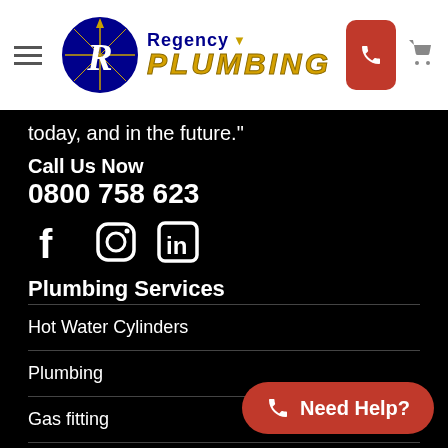[Figure (logo): Regency Plumbing logo with circular blue emblem and stylized text]
today, and in the future."
Call Us Now
0800 758 623
[Figure (infographic): Social media icons: Facebook, Instagram, LinkedIn]
Plumbing Services
Hot Water Cylinders
Plumbing
Gas fitting
Bathrooms
Drainage
Need Help?